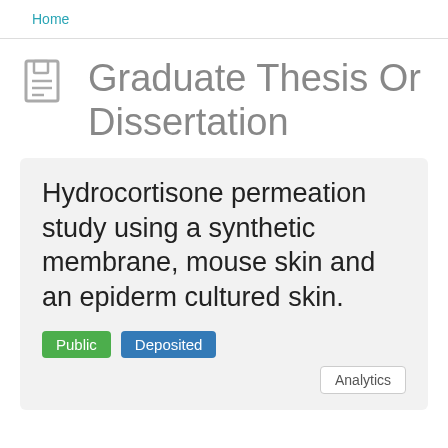Home
Graduate Thesis Or Dissertation
Hydrocortisone permeation study using a synthetic membrane, mouse skin and an epiderm cultured skin.
Public  Deposited
Analytics